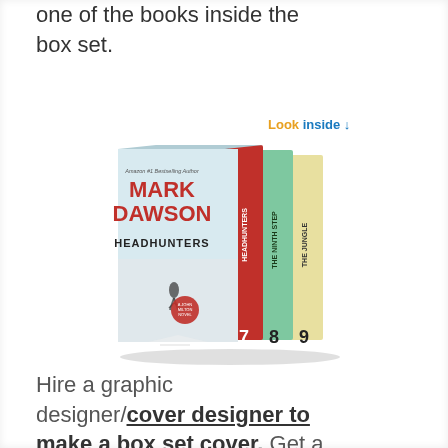one of the books inside the box set.
[Figure (illustration): Book box set showing Mark Dawson Headhunters series, with 3 books numbered 7, 8, 9. Front cover shows MARK DAWSON HEADHUNTERS with a person walking on a snowy road. A 'Look inside' callout appears above.]
Hire a graphic designer/cover designer to make a box set cover. Get a